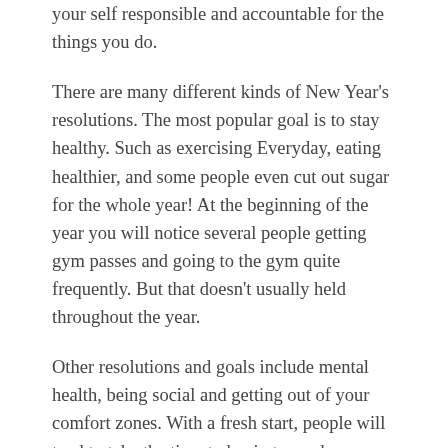your self responsible and accountable for the things you do.
There are many different kinds of New Year's resolutions. The most popular goal is to stay healthy. Such as exercising Everyday, eating healthier, and some people even cut out sugar for the whole year! At the beginning of the year you will notice several people getting gym passes and going to the gym quite frequently. But that doesn't usually held throughout the year.
Other resolutions and goals include mental health, being social and getting out of your comfort zones. With a fresh start, people will tend to take the time to begin to work on themselves and their mentality. Learning to be happy and grateful for the things you have and create a positive mental space for you to grow. Some people make goals to be more outgoing. Doing this helps people be more proactive. Some